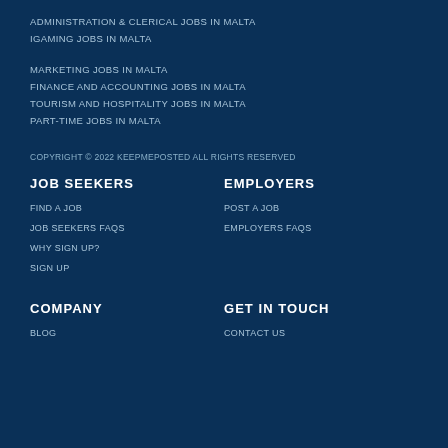ADMINISTRATION & CLERICAL JOBS IN MALTA
IGAMING JOBS IN MALTA
MARKETING JOBS IN MALTA
FINANCE AND ACCOUNTING JOBS IN MALTA
TOURISM AND HOSPITALITY JOBS IN MALTA
PART-TIME JOBS IN MALTA
COPYRIGHT © 2022 KEEPMEPOSTED ALL RIGHTS RESERVED
JOB SEEKERS
EMPLOYERS
FIND A JOB
POST A JOB
JOB SEEKERS FAQS
EMPLOYERS FAQS
WHY SIGN UP?
SIGN UP
COMPANY
GET IN TOUCH
BLOG
CONTACT US